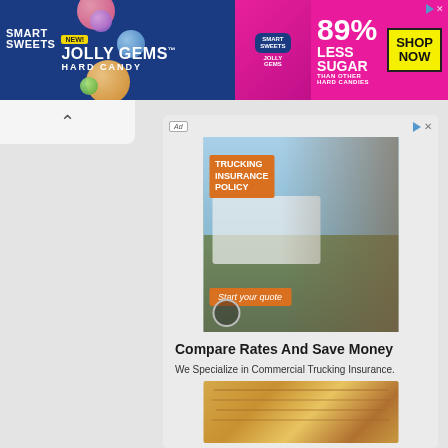[Figure (screenshot): Smart Sweets Jolly Gems Hard Candy banner advertisement. Blue background on left with 'SMART SWEETS' and 'JOLLY GEMS HARD CANDY' text, pink background on right with '89% LESS SUGAR THAN OTHER HARD CANDIES' and a yellow 'SHOP NOW' box.]
[Figure (photo): Trucking insurance advertisement photo showing a smiling man in a plaid shirt and cap, with a truck in the background. Orange overlay text reads 'TRUCKING INSURANCE POLICY' and 'Start your quote'.]
Compare Rates And Save Money
We Specialize in Commercial Trucking Insurance.
Quantum Assurance
[Figure (photo): Partial view of a second advertisement showing baked bread/rolls in a food-related image.]